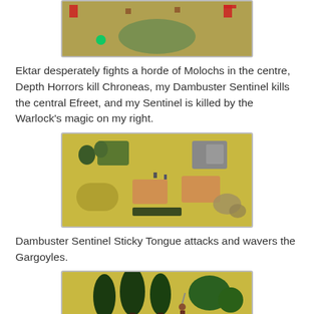[Figure (photo): Top cropped photo of a wargaming table with miniatures on sandy/green terrain with red arrow markers and a green die.]
Ektar desperately fights a horde of Molochs in the centre, Depth Horrors kill Chroneas, my Dambuster Sentinel kills the central Efreet, and my Sentinel is killed by the Warlock's magic on my right.
[Figure (photo): Photo of a wargaming table with miniatures on sandy/yellow terrain with trees, ruins, and unit trays.]
Dambuster Sentinel Sticky Tongue attacks and wavers the Gargoyles.
[Figure (photo): Photo of wargaming miniatures including large dark green trees, a humanoid figure with trident, and purple winged gargoyle creatures on sandy terrain.]